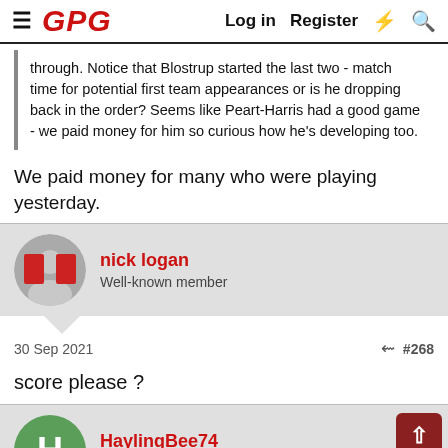GPG  Log in  Register
through. Notice that Blostrup started the last two - match time for potential first team appearances or is he dropping back in the order? Seems like Peart-Harris had a good game - we paid money for him so curious how he's developing too.
We paid money for many who were playing yesterday.
nick logan
Well-known member
30 Sep 2021  #268
score please ?
HaylingBee74
Active member
30 Sep 2021  #269